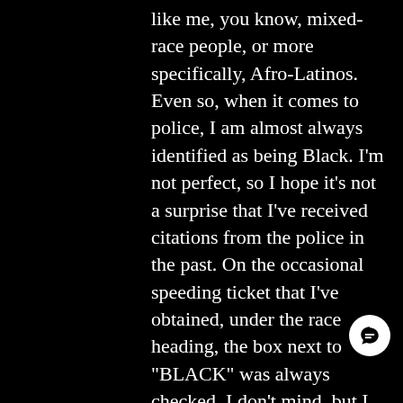like me, you know, mixed-race people, or more specifically, Afro-Latinos. Even so, when it comes to police, I am almost always identified as being Black. I'm not perfect, so I hope it's not a surprise that I've received citations from the police in the past. On the occasional speeding ticket that I've obtained, under the race heading, the box next to "BLACK" was always checked. I don't mind, but I know how I'm viewed by the police. Growing up in Texas, stories of police brutality and sanctioned racism abounded, especially in East Texas. Afterall, Juneteenth is a celebration of the freeing of the last slaves, in East Texas. This idea of racist brutality is nothi new, but in a way, coming out of th desert into the inescapable reality that,